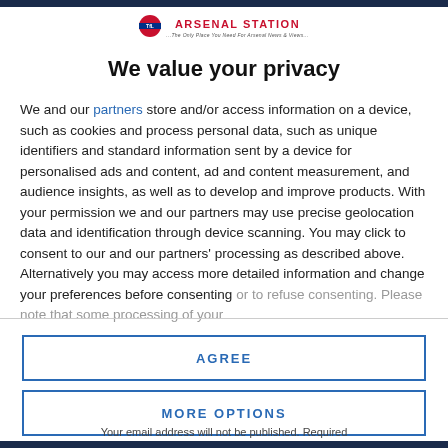[Figure (logo): Arsenal Station website logo with TfL roundel and brand name]
We value your privacy
We and our partners store and/or access information on a device, such as cookies and process personal data, such as unique identifiers and standard information sent by a device for personalised ads and content, ad and content measurement, and audience insights, as well as to develop and improve products. With your permission we and our partners may use precise geolocation data and identification through device scanning. You may click to consent to our and our partners' processing as described above. Alternatively you may access more detailed information and change your preferences before consenting or to refuse consenting. Please note that some processing of your
AGREE
MORE OPTIONS
Your email address will not be published. Required